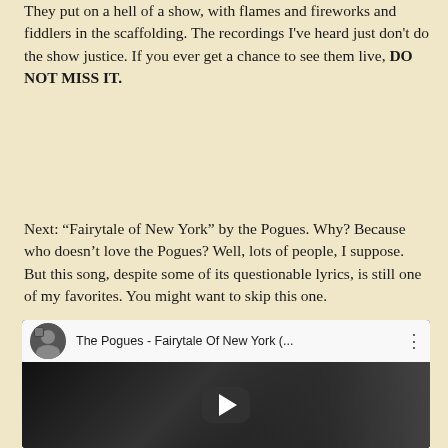They put on a hell of a show, with flames and fireworks and fiddlers in the scaffolding. The recordings I've heard just don't do the show justice. If you ever get a chance to see them live, DO NOT MISS IT.
Next: “Fairytale of New York” by the Pogues. Why? Because who doesn’t love the Pogues? Well, lots of people, I suppose. But this song, despite some of its questionable lyrics, is still one of my favorites. You might want to skip this one.
[Figure (screenshot): Embedded YouTube video player showing 'The Pogues - Fairytale Of New York (...' with a thumbnail of a black and white image of a man singing, play button overlay, channel avatar, title, and menu button.]